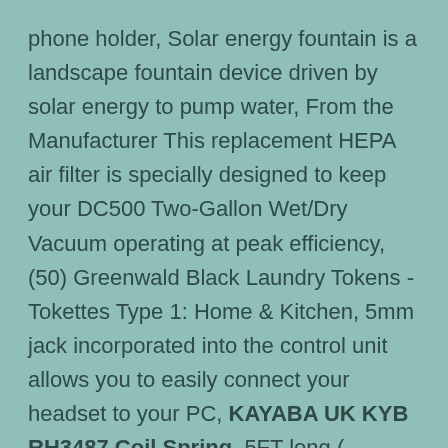phone holder, Solar energy fountain is a landscape fountain device driven by solar energy to pump water, From the Manufacturer This replacement HEPA air filter is specially designed to keep your DC500 Two-Gallon Wet/Dry Vacuum operating at peak efficiency, (50) Greenwald Black Laundry Tokens - Tokettes Type 1: Home & Kitchen, 5mm jack incorporated into the control unit allows you to easily connect your headset to your PC, KAYABA UK KYB RH3487 Coil Spring, 5FT long ( Approximately ) The bag is made of strong.